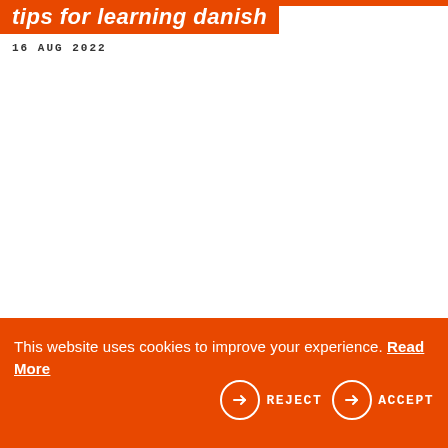tips for learning danish
16 AUG 2022
This website uses cookies to improve your experience. Read More
REJECT
ACCEPT